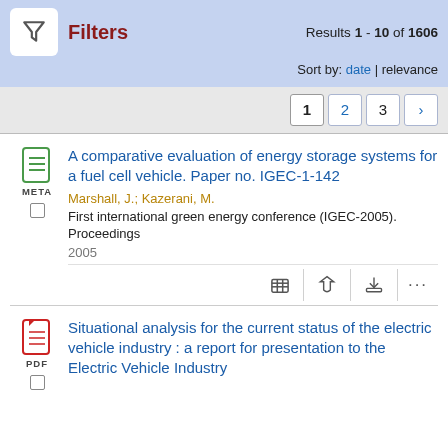Results 1 - 10 of 1606
Sort by: date | relevance
Pagination: 1 2 3 >
A comparative evaluation of energy storage systems for a fuel cell vehicle. Paper no. IGEC-1-142
Marshall, J.; Kazerani, M.
First international green energy conference (IGEC-2005). Proceedings
2005
Situational analysis for the current status of the electric vehicle industry : a report for presentation to the Electric Vehicle Industry